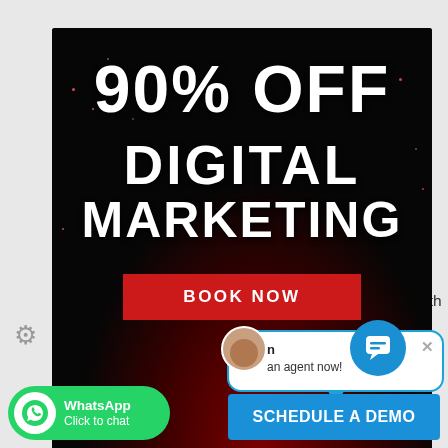[Figure (screenshot): A webpage screenshot showing a pop-up advertisement overlay for '90% OFF Digital Marketing' with a 'Book Now' button on a dark fireworks background, overlaid on a car wash service booking page. Also visible: a live chat popup in the bottom right, a WhatsApp click-to-chat button, and a 'Schedule a Demo' button at the bottom.]
me updates of the get exact delivery
s and help you to hen
n an agent now!
A customer can book car wash service now Or schedule it by using the calendar with later date and time by using the “book later” on.
[Figure (logo): WhatsApp Click to chat green button]
WhatsApp
Click to chat
SCHEDULE A DEMO